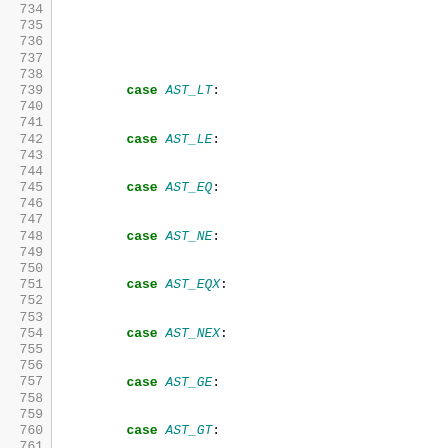[Figure (screenshot): Source code listing lines 734-763 showing C++ switch-case statements with AST node types: AST_LT, AST_LE, AST_EQ, AST_NE, AST_EQX, AST_NEX, AST_GE, AST_GT with width_hint and sign_hint assignments; AST_ADD, AST_SUB, AST_MUL, AST_DIV, AST_MOD with for loop; AST_LOGIC_AND, AST_LOGIC_OR, AST_LOGIC_NOT with width_hint and sign_hint; and beginning of AST_TERNARY case.]